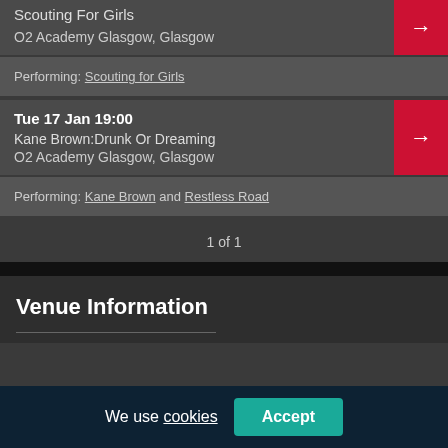Scouting For Girls
O2 Academy Glasgow, Glasgow
Performing: Scouting for Girls
Tue 17 Jan 19:00
Kane Brown:Drunk Or Dreaming
O2 Academy Glasgow, Glasgow
Performing: Kane Brown and Restless Road
1 of 1
Venue Information
We use cookies Accept